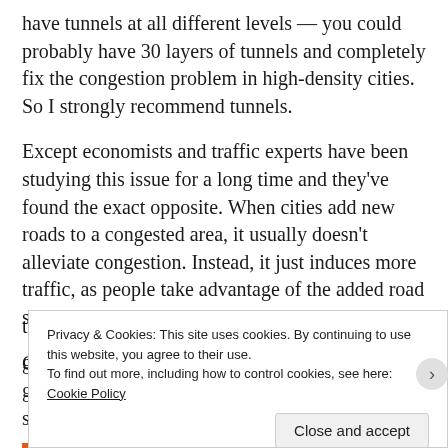have tunnels at all different levels — you could probably have 30 layers of tunnels and completely fix the congestion problem in high-density cities. So I strongly recommend tunnels.
Except economists and traffic experts have been studying this issue for a long time and they've found the exact opposite. When cities add new roads to a congested area, it usually doesn't alleviate congestion. Instead, it just induces more traffic, as people take advantage of the added road space to drive more.
Granted, there can still be good reasons for fast-growing cities to build new roads. They just shouldn't necessarily expect t[...] g[...]
Privacy & Cookies: This site uses cookies. By continuing to use this website, you agree to their use.
To find out more, including how to control cookies, see here: Cookie Policy
Close and accept